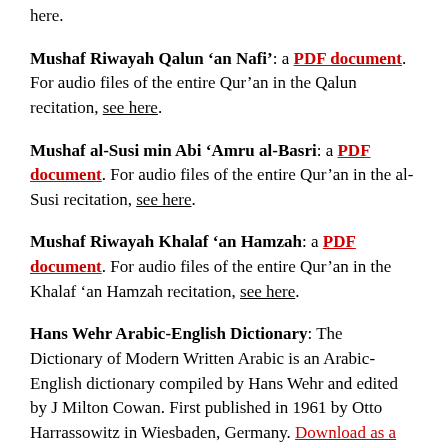here.
Mushaf Riwayah Qalun 'an Nafi': a PDF document. For audio files of the entire Qur'an in the Qalun recitation, see here.
Mushaf al-Susi min Abi 'Amru al-Basri: a PDF document. For audio files of the entire Qur'an in the al-Susi recitation, see here.
Mushaf Riwayah Khalaf 'an Hamzah: a PDF document. For audio files of the entire Qur'an in the Khalaf 'an Hamzah recitation, see here.
Hans Wehr Arabic-English Dictionary: The Dictionary of Modern Written Arabic is an Arabic-English dictionary compiled by Hans Wehr and edited by J Milton Cowan. First published in 1961 by Otto Harrassowitz in Wiesbaden, Germany. Download as a PDF.